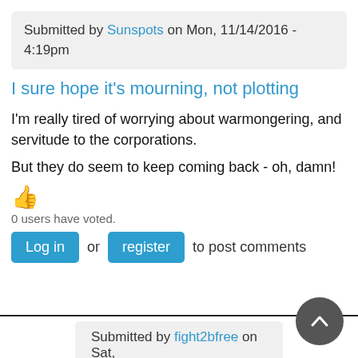Submitted by Sunspots on Mon, 11/14/2016 - 4:19pm
I sure hope it's mourning, not plotting
I'm really tired of worrying about warmongering, and servitude to the corporations.
But they do seem to keep coming back - oh, damn!
👍
0 users have voted.
Log in or register to post comments
Submitted by fight2bfree on Sat,